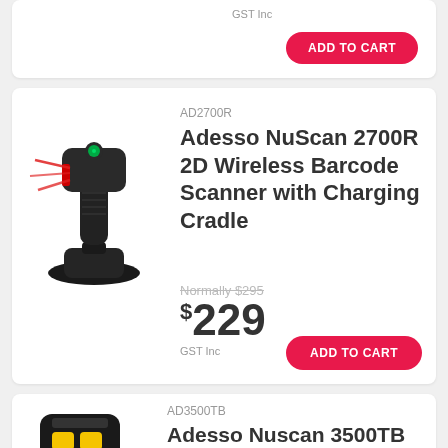GST Inc
ADD TO CART
[Figure (photo): Adesso NuScan 2700R 2D Wireless Barcode Scanner with Charging Cradle product photo]
AD2700R
Adesso NuScan 2700R 2D Wireless Barcode Scanner with Charging Cradle
Normally $295
$229
GST Inc
ADD TO CART
[Figure (photo): Adesso Nuscan 3500TB Portable 2D Bluetooth Barcode scanner product photo]
AD3500TB
Adesso Nuscan 3500TB Portable 2D Bluetooth Barcode